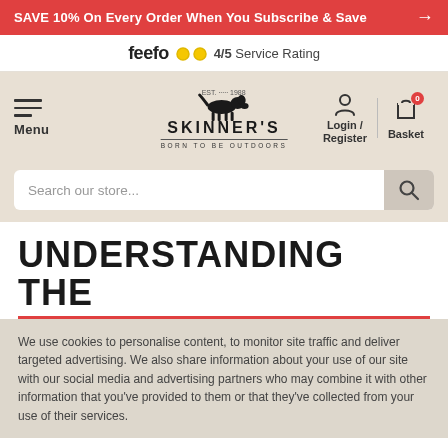SAVE 10% On Every Order When You Subscribe & Save →
feefo 4/5 Service Rating
[Figure (screenshot): Skinner's website navigation header with menu icon, dog food brand logo, login/register and basket icons, and search bar]
UNDERSTANDING THE
We use cookies to personalise content, to monitor site traffic and deliver targeted advertising. We also share information about your use of our site with our social media and advertising partners who may combine it with other information that you've provided to them or that they've collected from your use of their services.